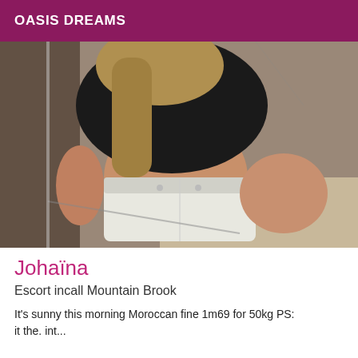OASIS DREAMS
[Figure (photo): A person photographed from behind/side, wearing a black top and white denim shorts, taking a mirror selfie in what appears to be a bathroom or similar setting.]
Johaïna
Escort incall Mountain Brook
It's sunny this morning Moroccan fine 1m69 for 50kg PS: it the. int...